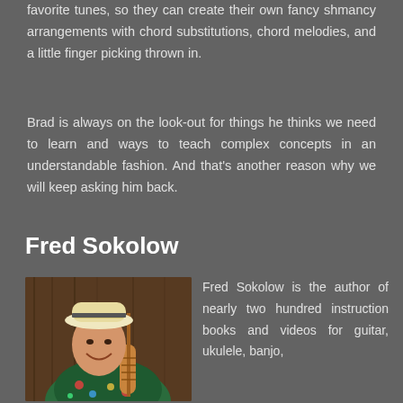favorite tunes, so they can create their own fancy shmancy arrangements with chord substitutions, chord melodies, and a little finger picking thrown in.
Brad is always on the look-out for things he thinks we need to learn and ways to teach complex concepts in an understandable fashion. And that's another reason why we will keep asking him back.
Fred Sokolow
[Figure (photo): Photo of Fred Sokolow, a smiling man wearing a white hat and colorful floral shirt, holding a ukulele]
Fred Sokolow is the author of nearly two hundred instruction books and videos for guitar, ukulele, banjo,